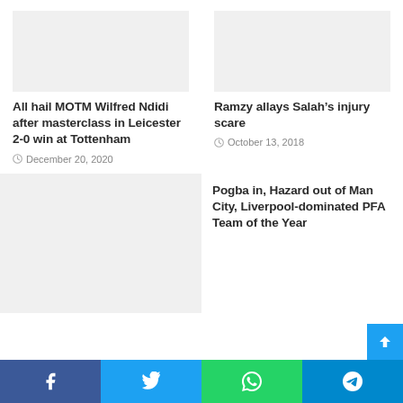All hail MOTM Wilfred Ndidi after masterclass in Leicester 2-0 win at Tottenham
December 20, 2020
Ramzy allays Salah’s injury scare
October 13, 2018
Pogba in, Hazard out of Man City, Liverpool-dominated PFA Team of the Year